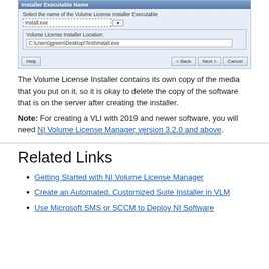[Figure (screenshot): Dialog box titled 'Installer Executable Name' showing a dropdown for Volume License Installer Executable set to 'Install.exe', a Volume License Installer Location field showing 'C:\Users\jgreen\Desktop\Test\Install.exe', and buttons Help, < Back, Next >, Cancel]
The Volume License Installer contains its own copy of the media that you put on it, so it is okay to delete the copy of the software that is on the server after creating the installer.
Note: For creating a VLI with 2019 and newer software, you will need NI Volume License Manager version 3.2.0 and above.
Related Links
Getting Started with NI Volume License Manager
Create an Automated, Customized Suite Installer in VLM
Use Microsoft SMS or SCCM to Deploy NI Software